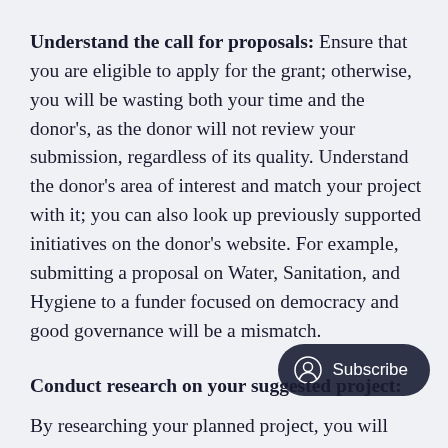Understand the call for proposals: Ensure that you are eligible to apply for the grant; otherwise, you will be wasting both your time and the donor's, as the donor will not review your submission, regardless of its quality. Understand the donor's area of interest and match your project with it; you can also look up previously supported initiatives on the donor's website. For example, submitting a proposal on Water, Sanitation, and Hygiene to a funder focused on democracy and good governance will be a mismatch.
[Figure (other): Subscribe button with user icon]
Conduct research on your suggested project: By researching your planned project, you will